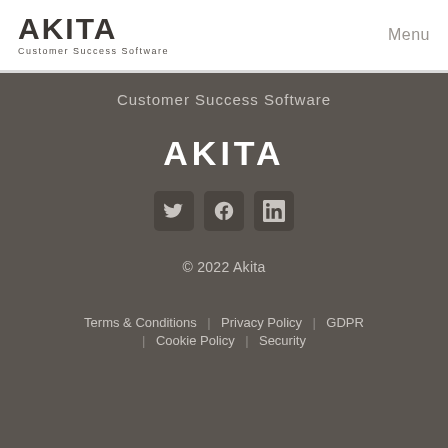AKITA Customer Success Software | Menu
Customer Success Software
[Figure (logo): AKITA logo in white bold text on dark background]
[Figure (other): Social media icons: Twitter, Facebook, LinkedIn]
© 2022 Akita
Terms & Conditions | Privacy Policy | GDPR | Cookie Policy | Security